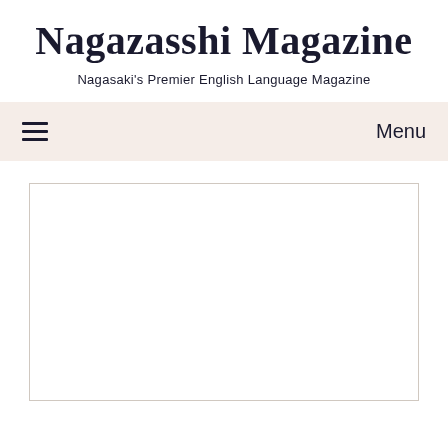Nagazasshi Magazine
Nagasaki's Premier English Language Magazine
≡   Menu
[Figure (other): White rectangular content placeholder area with a light gray border]